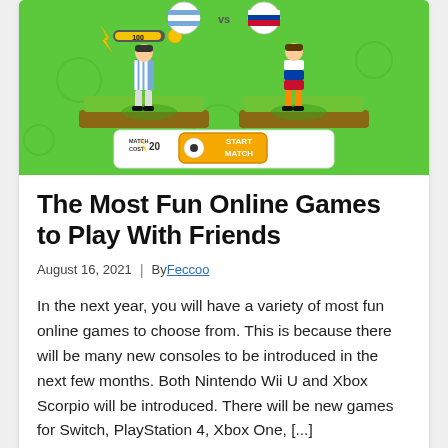[Figure (screenshot): Screenshot of an online soccer/football mobile game showing two players on a green field with country flag icons, a 'MATCH COST ⚡20' indicator and an orange 'START MATCH' button.]
The Most Fun Online Games to Play With Friends
August 16, 2021  |  By Feccoo
In the next year, you will have a variety of most fun online games to choose from. This is because there will be many new consoles to be introduced in the next few months. Both Nintendo Wii U and Xbox Scorpio will be introduced. There will be new games for Switch, PlayStation 4, Xbox One, [...]
Games Comment